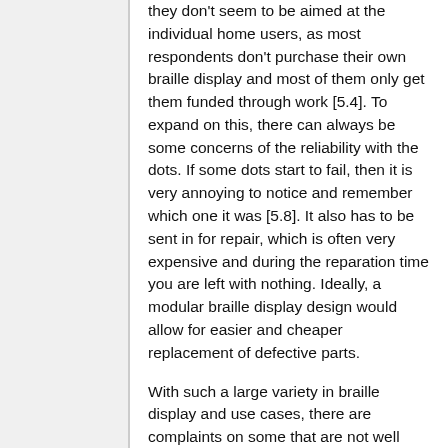they don't seem to be aimed at the individual home users, as most respondents don't purchase their own braille display and most of them only get them funded through work [5.4]. To expand on this, there can always be some concerns of the reliability with the dots. If some dots start to fail, then it is very annoying to notice and remember which one it was [5.8]. It also has to be sent in for repair, which is often very expensive and during the reparation time you are left with nothing. Ideally, a modular braille display design would allow for easier and cheaper replacement of defective parts.
With such a large variety in braille display and use cases, there are complaints on some that are not well designed ergonomically [5.8]. Some display shapes and sizes lead to unnatural reading positions and had poor button positioning that led to strain after longer periods of use. An example is where users have to hold their wrists up when reading, so they can't put their wrists flat which will be uncomfortable after long use. One of the respondents often makes use of multiple